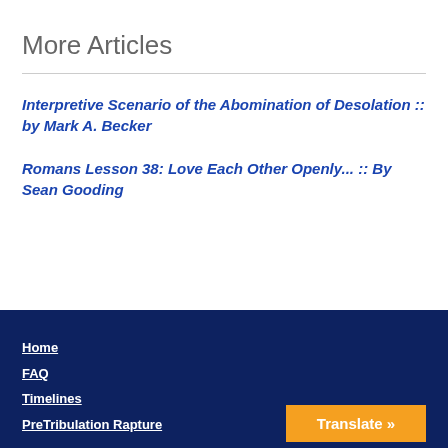More Articles
Interpretive Scenario of the Abomination of Desolation :: by Mark A. Becker
Romans Lesson 38: Love Each Other Openly... :: By Sean Gooding
Home
FAQ
Timelines
PreTribulation Rapture
Translate »